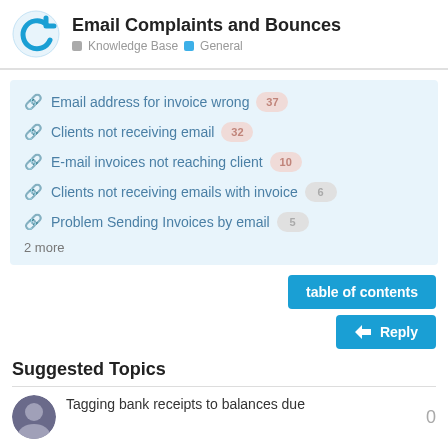Email Complaints and Bounces — Knowledge Base · General
Email address for invoice wrong 37
Clients not receiving email 32
E-mail invoices not reaching client 10
Clients not receiving emails with invoice 6
Problem Sending Invoices by email 5
2 more
table of contents
Reply
Suggested Topics
Tagging bank receipts to balances due
0